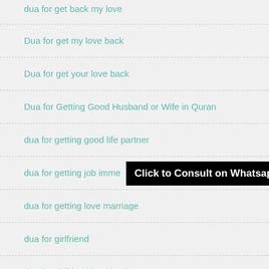dua for get back my love
Dua for get my love back
Dua for get your love back
Dua for Getting Good Husband or Wife in Quran
dua for getting good life partner
dua for getting job imme...
dua for getting love marriage
dua for girlfriend
dua for girlfriend love back
dua for good life partner in arabic